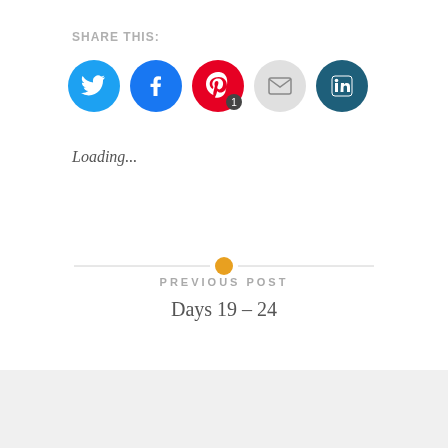SHARE THIS:
[Figure (illustration): Social sharing icons: Twitter (blue circle), Facebook (blue circle), Pinterest (red circle with badge '1'), Email (gray circle), LinkedIn (dark teal circle)]
Loading...
[Figure (other): Horizontal divider line with an orange/yellow circle dot in the center]
PREVIOUS POST
Days 19 – 24
Advertisements
[Figure (infographic): Ad banner with dark background: icon of person at computer, teal text 'Launch your online course with WordPress', white bold 'Learn More' button text]